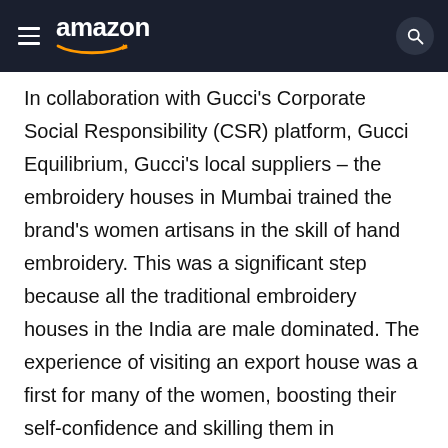amazon
In collaboration with Gucci's Corporate Social Responsibility (CSR) platform, Gucci Equilibrium, Gucci's local suppliers – the embroidery houses in Mumbai trained the brand's women artisans in the skill of hand embroidery. This was a significant step because all the traditional embroidery houses in the India are male dominated. The experience of visiting an export house was a first for many of the women, boosting their self-confidence and skilling them in a sustainable way.